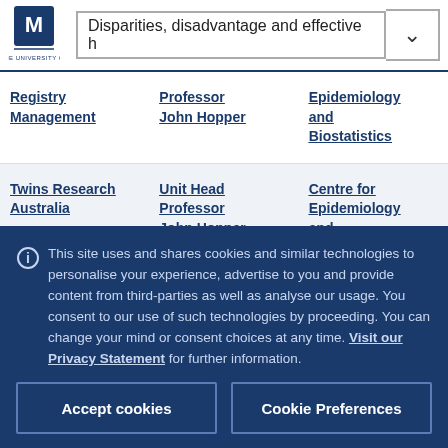Disparities, disadvantage and effective h
| Unit | Role | Centre |
| --- | --- | --- |
| Registry Management | Professor John Hopper | Epidemiology and Biostatistics |
| Twins Research Australia | Unit Head Professor John Hopper | Centre for Epidemiology and |
This site uses and shares cookies and similar technologies to personalise your experience, advertise to you and provide content from third-parties as well as analyse our usage. You consent to our use of such technologies by proceeding. You can change your mind or consent choices at any time. Visit our Privacy Statement for further information.
Accept cookies
Cookie Preferences